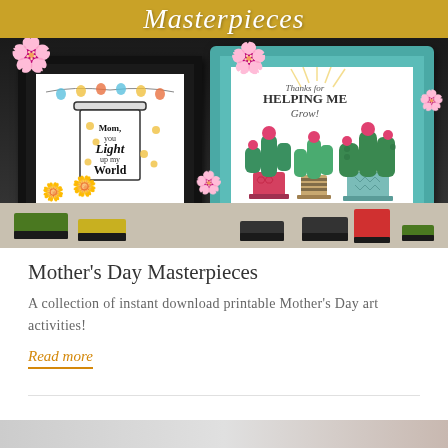[Figure (photo): Photo of two framed Mother's Day printable art pieces. Left: black frame with mason jar illustration reading 'Mom, you Light up my World'. Right: teal decorative frame with cactus art reading 'Thanks for Helping Me Grow!'. Flowers, stamp ink pads, and craft supplies are arranged around the frames on a dark background with a gold banner reading 'Masterpieces' at the top.]
Mother's Day Masterpieces
A collection of instant download printable Mother's Day art activities!
Read more